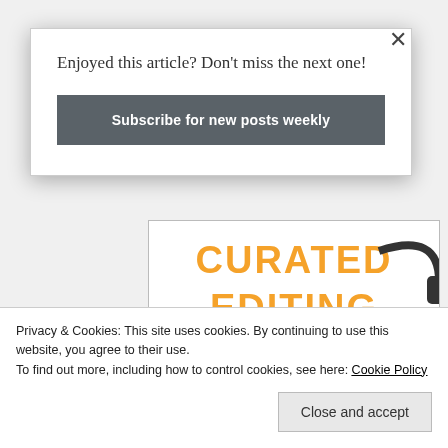[Figure (screenshot): Curated Editing Gear promotional image with orange text on white/orange background, featuring audio/tech equipment including a red audio interface, Samsung portable SSD, and headphones. Two 'prime' labels visible at bottom.]
Enjoyed this article? Don't miss the next one!
Subscribe for new posts weekly
Privacy & Cookies: This site uses cookies. By continuing to use this website, you agree to their use.
To find out more, including how to control cookies, see here: Cookie Policy
Close and accept